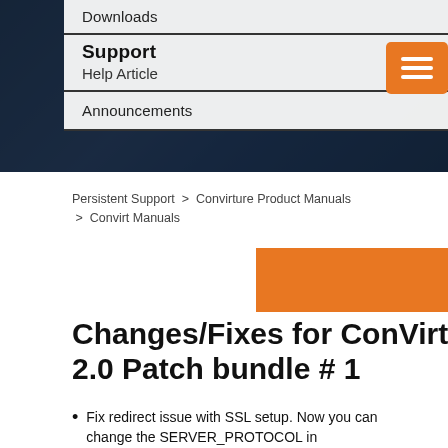Downloads
Support
Help Article
Announcements
Persistent Support > Convirture Product Manuals > Convirt Manuals
Changes/Fixes for ConVirt 2.0 Patch bundle # 1
Fix redirect issue with SSL setup. Now you can change the SERVER_PROTOCOL in